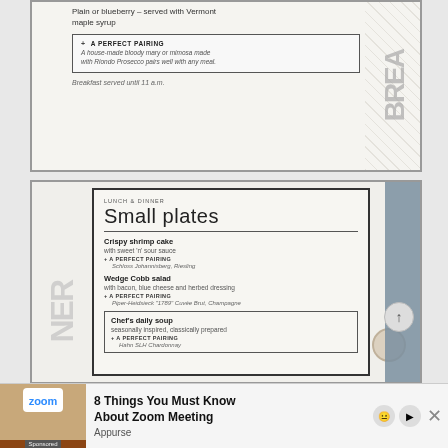[Figure (photo): Photo of a breakfast menu page showing text about pancakes: 'Plain or blueberry – served with Vermont maple syrup', a boxed 'A PERFECT PAIRING' section describing a house-made bloody mary or mimosa made with Riondo Prosecco pairs well with any meal, and text 'Breakfast served until 11 a.m.' with a vertical 'BREA' watermark on the right side.]
[Figure (photo): Photo of a restaurant lunch and dinner menu card showing 'LUNCH & DINNER' label, 'Small plates' heading, menu items: 'Crispy shrimp cake with sweet 'n' sour sauce' with A Perfect Pairing 'Schloss Johannisberg Riesling', 'Wedge Cobb salad with bacon, blue cheese and herbed dressing' with A Perfect Pairing 'Piper-Heidsieck "1789" Cuvée Brut, Champagne', and a boxed 'Chef's daily soup seasonally inspired, classically prepared' with A Perfect Pairing 'Hahn SLH Chardonnay'. Vertical 'NER' watermark on left side.]
[Figure (photo): Advertisement banner: '8 Things You Must Know About Zoom Meeting' sponsored by Appurse, with Zoom logo and laptop image on left, close button on right.]